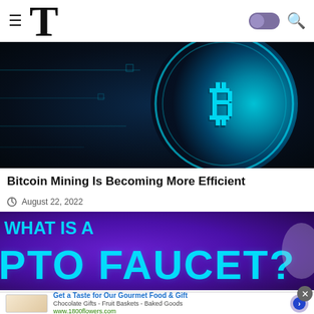≡ T [dark mode toggle] [search icon]
[Figure (photo): Close-up of a glowing teal Bitcoin coin with circuit board patterns on dark background]
Bitcoin Mining Is Becoming More Efficient
August 22, 2022
[Figure (photo): Purple background image with cyan glowing text reading 'WHAT IS A CRYPTO FAUCET?']
Get a Taste for Our Gourmet Food & Gift
Chocolate Gifts - Fruit Baskets - Baked Goods
www.1800flowers.com